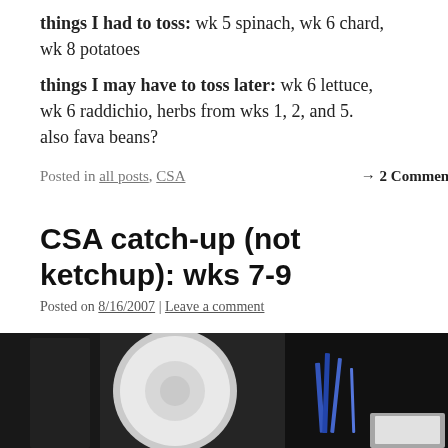things I had to toss: wk 5 spinach, wk 6 chard, wk 8 potatoes
things I may have to toss later: wk 6 lettuce, wk 6 raddichio, herbs from wks 1, 2, and 5. also fava beans?
Posted in all posts, CSA → 2 Comments
CSA catch-up (not ketchup): wks 7-9
Posted on 8/16/2007 | Leave a comment
I have 3 weeks to catch up on:
Week 7:
[Figure (photo): Dark photograph showing what appears to be a roll of paper towels or cylindrical object on the left side and some items including what look like pens or pencils on the right side, against a dark background.]